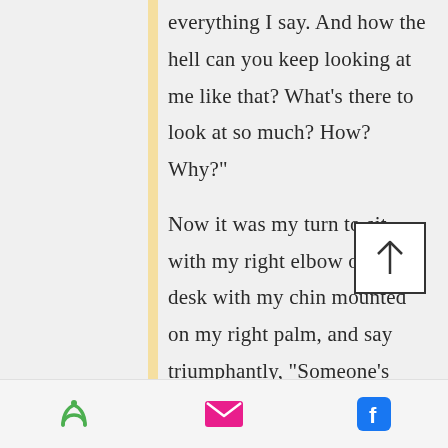everything I say. And how the hell can you keep looking at me like that? What's there to look at so much? How? Why?"

Now it was my turn to sit with my right elbow on the desk with my chin mounted on my right palm, and say triumphantly, “Someone’s memory is too good, remembering details and all!"

“And how the…” she began again before I cut her off to say what I must
[Figure (other): Scroll-to-top button with upward arrow]